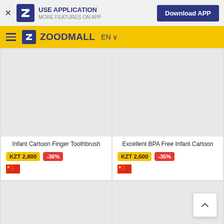USE APPLICATION MORE FEATURES ON APP | Download APP
ZOODMALL EN
[Figure (screenshot): Product card: Infant Cartoon Finger Toothbrush, KZT 2,800, -36%, China flag]
Infant Cartoon Finger Toothbrush
KZT 2,800  -36%
[Figure (screenshot): Product card: Excellent BPA Free Infant Cartoon, KZT 2,600, -35%, China flag]
Excellent BPA Free Infant Cartoon
KZT 2,600  -35%
[Figure (screenshot): Product card bottom-left: partially visible, grey placeholder]
[Figure (screenshot): Product card bottom-right: partially visible, grey placeholder]